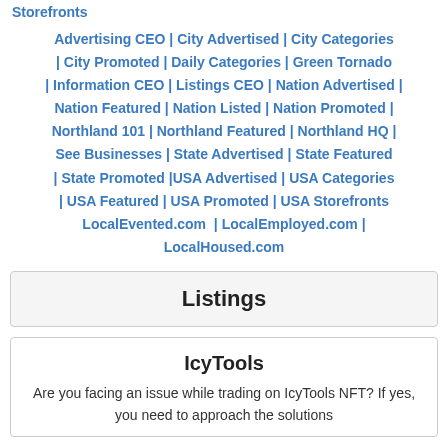Storefronts
Advertising CEO | City Advertised | City Categories | City Promoted | Daily Categories | Green Tornado | Information CEO | Listings CEO | Nation Advertised | Nation Featured | Nation Listed | Nation Promoted | Northland 101 | Northland Featured | Northland HQ | See Businesses | State Advertised | State Featured | State Promoted | USA Advertised | USA Categories | USA Featured | USA Promoted | USA Storefronts LocalEvented.com | LocalEmployed.com | LocalHoused.com
Listings
IcyTools
Are you facing an issue while trading on IcyTools NFT? If yes, you need to approach the solutions